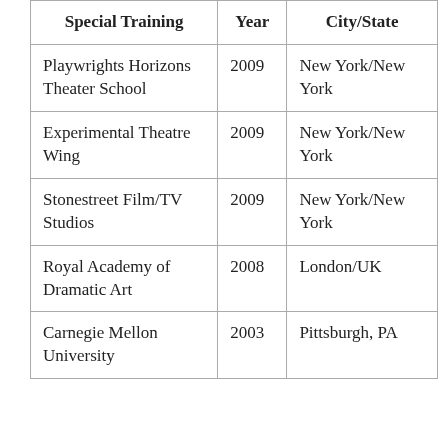| Special Training | Year | City/State |
| --- | --- | --- |
| Playwrights Horizons Theater School | 2009 | New York/New York |
| Experimental Theatre Wing | 2009 | New York/New York |
| Stonestreet Film/TV Studios | 2009 | New York/New York |
| Royal Academy of Dramatic Art | 2008 | London/UK |
| Carnegie Mellon University | 2003 | Pittsburgh, PA |